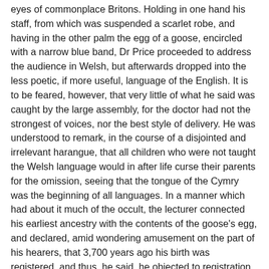eyes of commonplace Britons. Holding in one hand his staff, from which was suspended a scarlet robe, and having in the other palm the egg of a goose, encircled with a narrow blue band, Dr Price proceeded to address the audience in Welsh, but afterwards dropped into the less poetic, if more useful, language of the English. It is to be feared, however, that very little of what he said was caught by the large assembly, for the doctor had not the strongest of voices, nor the best style of delivery. He was understood to remark, in the course of a disjointed and irrelevant harangue, that all children who were not taught the Welsh language would in after life curse their parents for the omission, seeing that the tongue of the Cymry was the beginning of all languages. In a manner which had about it much of the occult, the lecturer connected his earliest ancestry with the contents of the goose's egg, and declared, amid wondering amusement on the part of his hearers, that 3,700 years ago his birth was registered, and thus, he said, he objected to registration now - this remark apparently having reference to the proceedings recently taken with a view to the registration of the child which Dr Price cremated. Subsequently the doctor struck up a Welsh song, in the course of chanting which, and with his face to